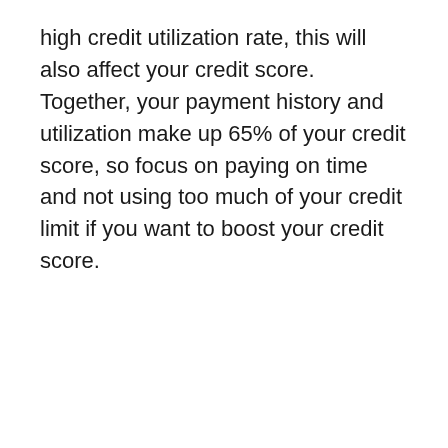high credit utilization rate, this will also affect your credit score. Together, your payment history and utilization make up 65% of your credit score, so focus on paying on time and not using too much of your credit limit if you want to boost your credit score.